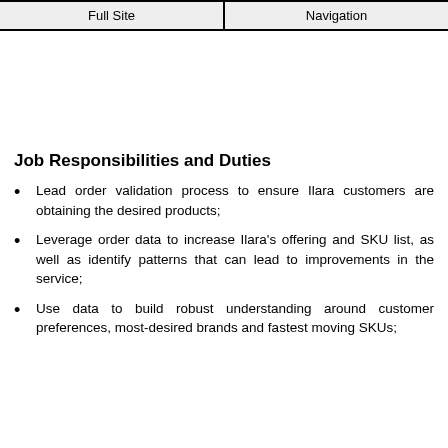Full Site | Navigation
Job Responsibilities and Duties
Lead order validation process to ensure Ilara customers are obtaining the desired products;
Leverage order data to increase Ilara's offering and SKU list, as well as identify patterns that can lead to improvements in the service;
Use data to build robust understanding around customer preferences, most-desired brands and fastest moving SKUs;